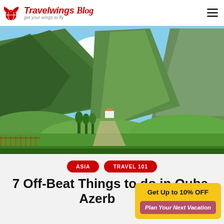Travelwings Blog — get your wings to fly
[Figure (photo): Scenic landscape photo showing dramatic green mountains with cliffs, trees, a small white house, and blue sky with white clouds — Azerbaijan mountain scenery]
ASIA   TRAVEL 101
7 Off-Beat Things to do in Quba, Azerbaijan
Get Up to 10% OFF  Plan Your Next Vacation